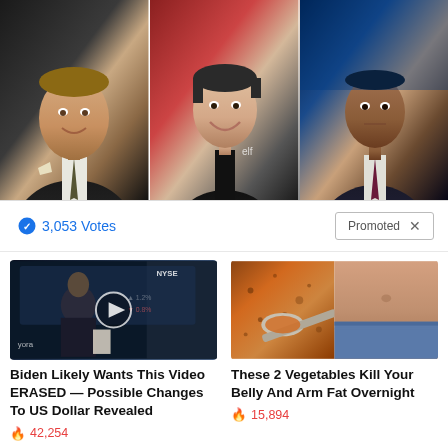[Figure (photo): Three news anchors side by side: Tucker Carlson (left, Fox News), Rachel Maddow (center, MSNBC), Don Lemon (right, CNN)]
3,053 Votes
Promoted X
[Figure (photo): Video thumbnail of man on financial news set with NYSE background and play button overlay]
Biden Likely Wants This Video ERASED — Possible Changes To US Dollar Revealed
🔥 42,254
[Figure (photo): Spoonful of spice/powder next to slim midsection]
These 2 Vegetables Kill Your Belly And Arm Fat Overnight
🔥 15,894